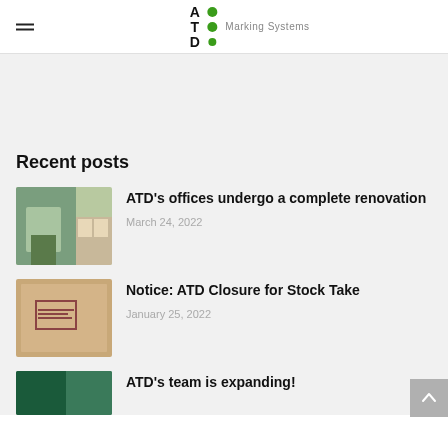ATD Marking Systems
Recent posts
[Figure (photo): Office interior with green plants and large windows showing trees outside]
ATD's offices undergo a complete renovation
March 24, 2022
[Figure (photo): Cardboard box with a printed label/barcode]
Notice: ATD Closure for Stock Take
January 25, 2022
[Figure (photo): Partial photo for third post item]
ATD's team is expanding!